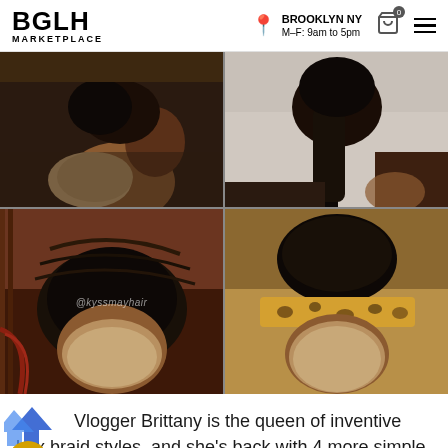BGLH MARKETPLACE — BROOKLYN NY M–F: 9am to 5pm
[Figure (photo): Four-panel photo grid showing a woman with box braids in various styles: top-left shows side profile with bun, top-right shows back view of long braided ponytail, bottom-left shows braids wrapped loosely around head, bottom-right shows braids styled in an updo with leopard-print headband. Watermark reads @kyssmayhair]
Vlogger Brittany is the queen of inventive box braid styles, and she's back with 4 more simple and beautiful styles. Check it out: